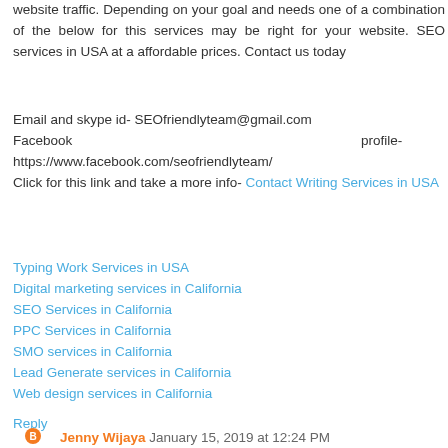website traffic. Depending on your goal and needs one of a combination of the below for this services may be right for your website. SEO services in USA at a affordable prices. Contact us today
Email and skype id- SEOfriendlyteam@gmail.com
Facebook profile- https://www.facebook.com/seofriendlyteam/
Click for this link and take a more info- Contact Writing Services in USA
Typing Work Services in USA
Digital marketing services in California
SEO Services in California
PPC Services in California
SMO services in California
Lead Generate services in California
Web design services in California
Reply
Jenny Wijaya   January 15, 2019 at 12:24 PM